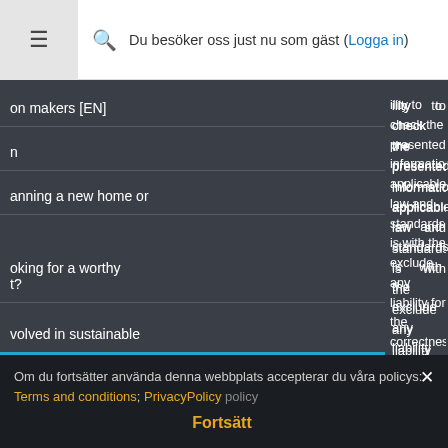Du besöker oss just nu som gäst (Logga in)
on makers [EN]
n
anning a new home or
oking for a worthy t?
volved in sustainable
ility to check the presented information, applicable law and standards, is with the exclude any liability for the correctness ented data. Any liability for possible equences resulting from the use of this ded.
ute
art of this course may be reproduced or retrieval system or transmitted, in any s, electronic, recording or otherwise, permission of Passive House Institute
Om du fortsätter använda denna webbplats accepterar du våra policys:
Terms and conditions; PrivacyPolicy
Fortsätt